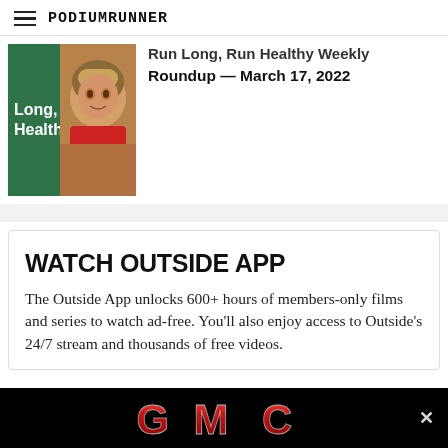PodiumRunner
Run Long, Run Healthy Weekly Roundup — March 17, 2022
[Figure (photo): Thumbnail image showing 'Long, Healthy' text on green background with photo of a man wearing a cap]
WATCH OUTSIDE APP
The Outside App unlocks 600+ hours of members-only films and series to watch ad-free. You'll also enjoy access to Outside's 24/7 stream and thousands of free videos.
[Figure (logo): GMC logo advertisement banner on black background with close button]